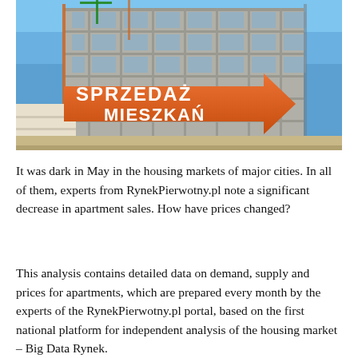[Figure (photo): Construction site of a multi-story residential building under clear blue sky, with a large orange arrow-shaped sign reading 'SPRZEDAŻ MIESZKAŃ' (Apartment Sales) in the foreground.]
It was dark in May in the housing markets of major cities. In all of them, experts from RynekPierwotny.pl note a significant decrease in apartment sales. How have prices changed?
This analysis contains detailed data on demand, supply and prices for apartments, which are prepared every month by the experts of the RynekPierwotny.pl portal, based on the first national platform for independent analysis of the housing market – Big Data Rynek.